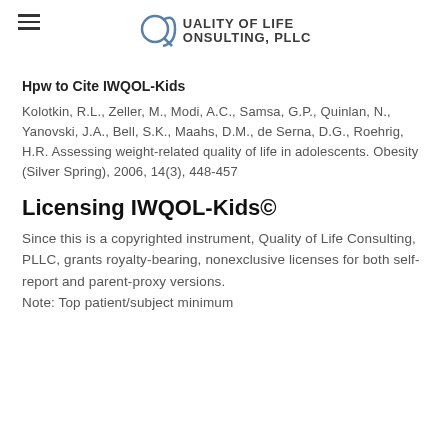Quality of Life Consulting, PLLC
Hpw to Cite IWQOL-Kids
Kolotkin, R.L., Zeller, M., Modi, A.C., Samsa, G.P., Quinlan, N., Yanovski, J.A., Bell, S.K., Maahs, D.M., de Serna, D.G., Roehrig, H.R. Assessing weight-related quality of life in adolescents. Obesity (Silver Spring), 2006, 14(3), 448-457
Licensing IWQOL-Kids©
Since this is a copyrighted instrument, Quality of Life Consulting, PLLC, grants royalty-bearing, nonexclusive licenses for both self-report and parent-proxy versions.
Note: Top patient/subject minimum